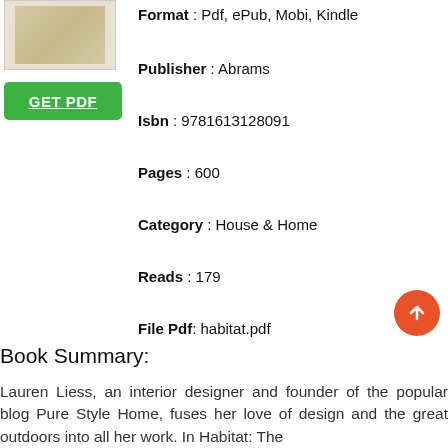[Figure (illustration): Book cover thumbnail showing an interior/home design book cover with muted beige tones]
[Figure (other): Green GET PDF button with white underlined text]
Format : Pdf, ePub, Mobi, Kindle
Publisher : Abrams
Isbn : 9781613128091
Pages : 600
Category : House & Home
Reads : 179
File Pdf: habitat.pdf
Book Summary:
Lauren Liess, an interior designer and founder of the popular blog Pure Style Home, fuses her love of design and the great outdoors into all her work. In Habitat: The